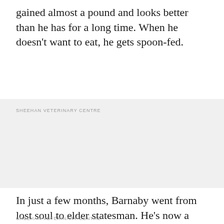gained almost a pound and looks better than he has for a long time. When he doesn't want to eat, he gets spoon-fed.
SHEEHAN VETERINARY CENTRE
In just a few months, Barnaby went from lost soul to elder statesman. He's now a very proper cat. Hopefully, other homeless senior cats will soon find their forever homes, too.
SHEEHAN VETERINARY CENTRE